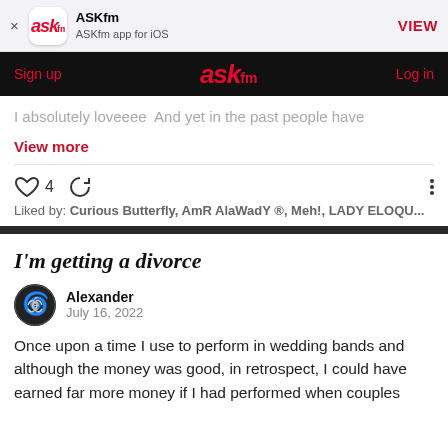[Figure (screenshot): ASKfm app install banner with app icon, name 'ASKfm', subtitle 'ASKfm app for iOS', and VIEW button]
Sign up   ASKfm   Log in
I absolutely loveeee  And yet in the past people have
View more
♡ 4  ⟳  ⋮
Liked by: Curious Butterfly, AmR AlaWadY ®, Meh!, LADY ELOQU...
I'm getting a divorce
Alexander
July 16, 2022
Once upon a time I use to perform in wedding bands and although the money was good, in retrospect, I could have earned far more money if I had performed when couples